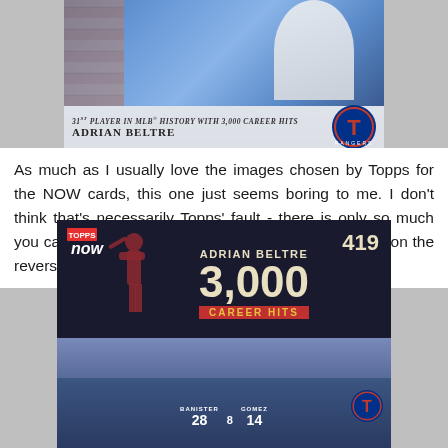[Figure (photo): Top portion of a Topps baseball card showing Adrian Beltre — '31st Player in MLB History with 3,000 Career Hits' banner with Texas Rangers logo]
As much as I usually love the images chosen by Topps for the NOW cards, this one just seems boring to me. I don't think that's necessarily Topps' fault - there is only so much you can show to represent a hit. However, the images on the reverse side of the card are far better:
[Figure (photo): Back of Topps NOW card #419 showing Adrian Beltre 3000 Career Hits, with Texas Rangers players including #28 Banister, #14 Gomez celebrating]